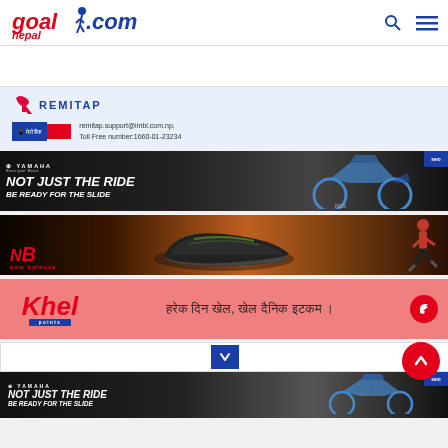goalnepal.com
[Figure (illustration): White/gray ad banner placeholder]
[Figure (logo): Remitap logo with R icon and REMITAP text in blue]
remitap.support@imbl.com.np.
Toll Free number:1660-01-23234
[Figure (photo): Yamaha ad: NOT JUST THE RIDE BE READY FOR THE SLIDE with motorcycle image]
[Figure (photo): New Balance ad with sneaker and runner on dark background]
[Figure (photo): Khel points ad with red background: Khel logo and Devanagari tagline]
[Figure (photo): Yamaha footer ad: NOT JUST THE RIDE BE READY FOR THE SLIDE]